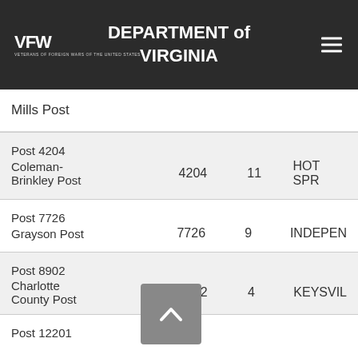VFW DEPARTMENT of VIRGINIA
Mills Post
| Post Name | Post Number | District | City |
| --- | --- | --- | --- |
| Post 4204 Coleman-Brinkley Post | 4204 | 11 | HOT SPR... |
| Post 7726 Grayson Post | 7726 | 9 | INDEPEN... |
| Post 8902 Charlotte County Post | 8902 | 4 | KEYSVIL... |
| Post 12201 |  |  |  |